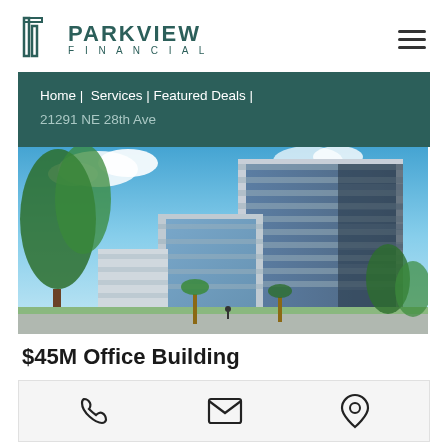Parkview Financial
Home | Services | Featured Deals | 21291 NE 28th Ave
[Figure (photo): Modern multi-story office building with glass facade and reflective blue panels, surrounded by palm trees and greenery under a partly cloudy sky. $45M Office Building.]
$45M Office Building